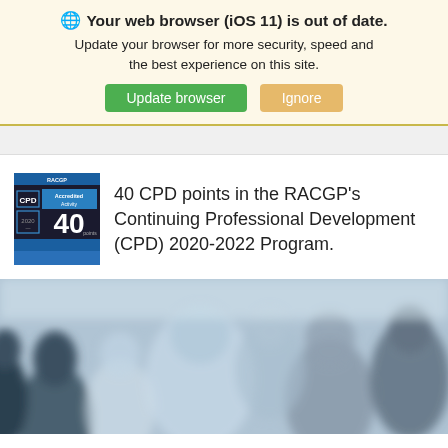🌐 Your web browser (iOS 11) is out of date. Update your browser for more security, speed and the best experience on this site. [Update browser] [Ignore]
40 CPD points in the RACGP's Continuing Professional Development (CPD) 2020-2022 Program.
[Figure (photo): Blurred photo of a group of people, appearing to be in a meeting or social gathering, with soft focus.]